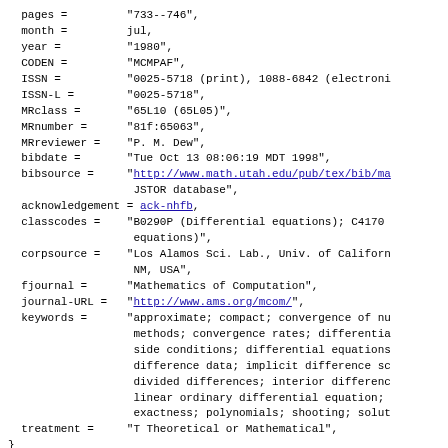pages =         "733--746",
  month =         jul,
  year =          "1980",
  CODEN =         "MCMPAF",
  ISSN =          "0025-5718 (print), 1088-6842 (electroni
  ISSN-L =        "0025-5718",
  MRclass =       "65L10 (65L05)",
  MRnumber =      "81f:65063",
  MRreviewer =    "P. M. Dew",
  bibdate =       "Tue Oct 13 08:06:19 MDT 1998",
  bibsource =     "http://www.math.utah.edu/pub/tex/bib/ma
                   JSTOR database",
  acknowledgement = ack-nhfb,
  classcodes =    "B0290P (Differential equations); C4170
                   equations)",
  corpsource =    "Los Alamos Sci. Lab., Univ. of Californ
                   NM, USA",
  fjournal =      "Mathematics of Computation",
  journal-URL =   "http://www.ams.org/mcom/",
  keywords =      "approximate; compact; convergence of nu
                   methods; convergence rates; differentia
                   side conditions; differential equations
                   difference data; implicit difference sc
                   divided differences; interior differenc
                   linear ordinary differential equation;
                   exactness; polynomials; shooting; solut
  treatment =     "T Theoretical or Mathematical",
}
@Article{Lundin:1980:CFM,